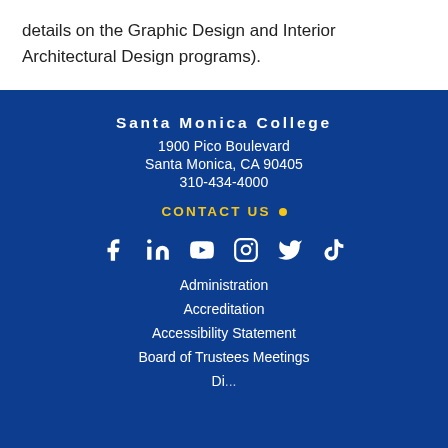details on the Graphic Design and Interior Architectural Design programs).
Santa Monica College
1900 Pico Boulevard
Santa Monica, CA 90405
310-434-4000
CONTACT US •
[Figure (infographic): Social media icons: Facebook, LinkedIn, YouTube, Instagram, Twitter, TikTok]
Administration
Accreditation
Accessibility Statement
Board of Trustees Meetings
Di...